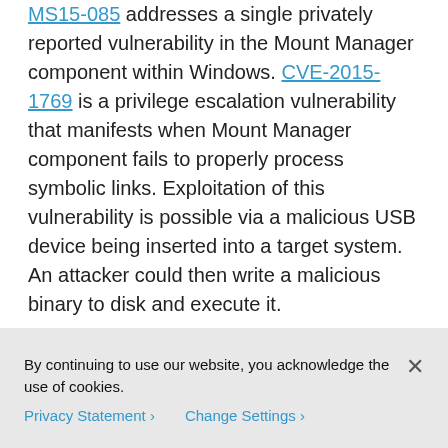MS15-085 addresses a single privately reported vulnerability in the Mount Manager component within Windows. CVE-2015-1769 is a privilege escalation vulnerability that manifests when Mount Manager component fails to properly process symbolic links. Exploitation of this vulnerability is possible via a malicious USB device being inserted into a target system. An attacker could then write a malicious binary to disk and execute it.
MS15-086 addresses a single privately reported vulnerability in Microsoft System Center Operations Manager (SCOM). CVE-2015-2420
By continuing to use our website, you acknowledge the use of cookies.
Privacy Statement > Change Settings >